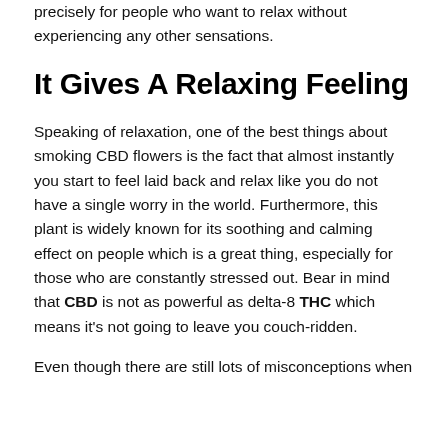precisely for people who want to relax without experiencing any other sensations.
It Gives A Relaxing Feeling
Speaking of relaxation, one of the best things about smoking CBD flowers is the fact that almost instantly you start to feel laid back and relax like you do not have a single worry in the world. Furthermore, this plant is widely known for its soothing and calming effect on people which is a great thing, especially for those who are constantly stressed out. Bear in mind that CBD is not as powerful as delta-8 THC which means it's not going to leave you couch-ridden.
Even though there are still lots of misconceptions when